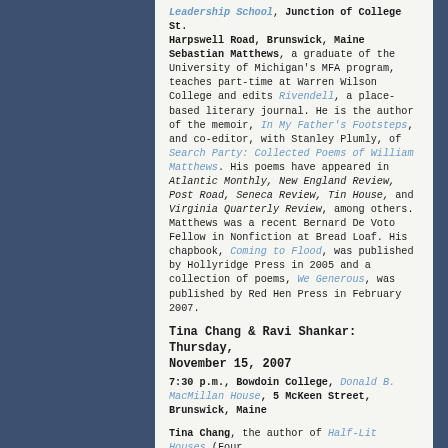Leadership School, Junction of College St. Harpswell Road, Brunswick, Maine
Sebastian Matthews, a graduate of the University of Michigan's MFA program, teaches part-time at Warren Wilson College and edits Rivendell, a place-based literary journal. He is the author of the memoir, In My Father's Footsteps, and co-editor, with Stanley Plumly, of Search Party: Collected Poems of William Matthews. His poems have appeared in Atlantic Monthly, New England Review, Post Road, Seneca Review, Tin House, and Virginia Quarterly Review, among others. Matthews was a recent Bernard De Voto Fellow in Nonfiction at Bread Loaf. His chapbook, Coming to Flood, was published by Hollyridge Press in 2005 and a collection of poems, We Generous, was published by Red Hen Press in February 2007.
Tina Chang & Ravi Shankar: Thursday, November 15, 2007
7:30 p.m., Bowdoin College, Donald B. MacMillan House, 5 McKeen Street, Brunswick, Maine
Tina Chang, the author of Half-Lit Houses (Four